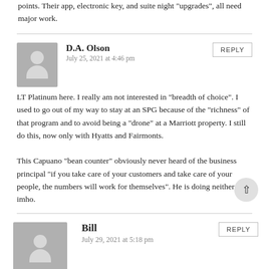points. Their app, electronic key, and suite night “upgrades”, all need major work.
D.A. Olson
July 25, 2021 at 4:46 pm
LT Platinum here. I really am not interested in “breadth of choice“. I used to go out of my way to stay at an SPG because of the “richness” of that program and to avoid being a “drone” at a Marriott property. I still do this, now only with Hyatts and Fairmonts.

This Capuano “bean counter” obviously never heard of the business principal “if you take care of your customers and take care of your people, the numbers will work for themselves”. He is doing neither imho.
Bill
July 29, 2021 at 5:18 pm
I am that guy... 300 days a year before the pandemic. Still did 200 last year, and [x] this year. I'm platinum for life, and feel like I'm not...